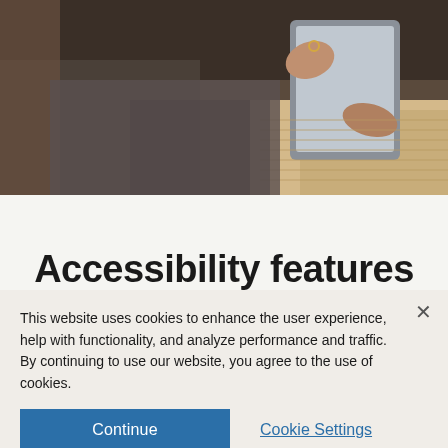[Figure (photo): A person sitting and holding a tablet device, wearing a grey sweater, with a cream knit blanket nearby.]
Accessibility features
This website uses cookies to enhance the user experience, help with functionality, and analyze performance and traffic. By continuing to use our website, you agree to the use of cookies.
Continue
Cookie Settings